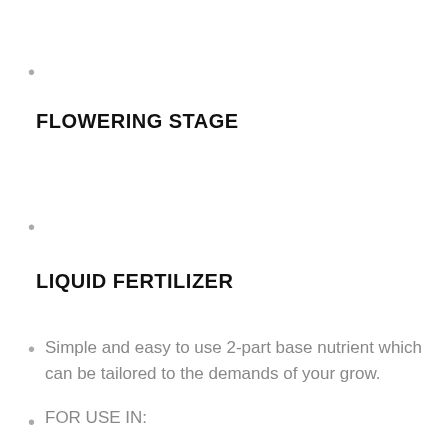FLOWERING STAGE
LIQUID FERTILIZER
Simple and easy to use 2-part base nutrient which can be tailored to the demands of your grow.
FOR USE IN: